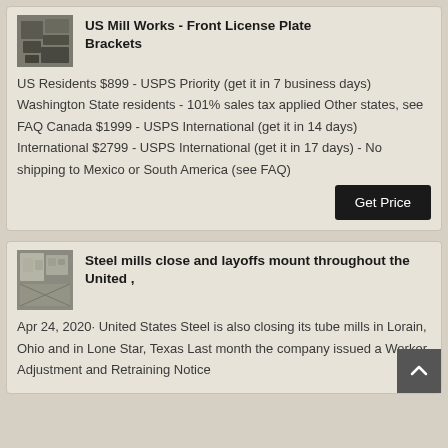US Mill Works - Front License Plate Brackets
US Residents $899 - USPS Priority (get it in 7 business days) Washington State residents - 101% sales tax applied Other states, see FAQ Canada $1999 - USPS International (get it in 14 days) International $2799 - USPS International (get it in 17 days) - No shipping to Mexico or South America (see FAQ)
Steel mills close and layoffs mount throughout the United ,
Apr 24, 2020· United States Steel is also closing its tube mills in Lorain, Ohio and in Lone Star, Texas Last month the company issued a Worker Adjustment and Retraining Notice